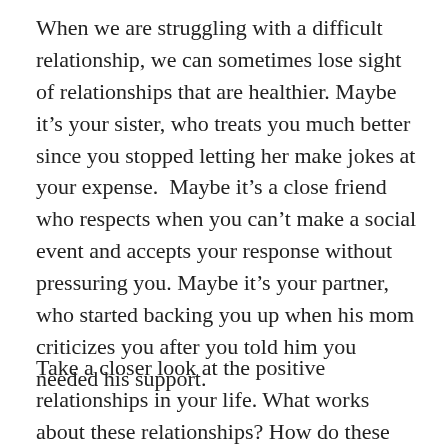When we are struggling with a difficult relationship, we can sometimes lose sight of relationships that are healthier. Maybe it’s your sister, who treats you much better since you stopped letting her make jokes at your expense.  Maybe it’s a close friend who respects when you can’t make a social event and accepts your response without pressuring you. Maybe it’s your partner, who started backing you up when his mom criticizes you after you told him you needed his support.
Take a closer look at the positive relationships in your life. What works about these relationships? How do these people respond when you say no, can’t accommodate them, or